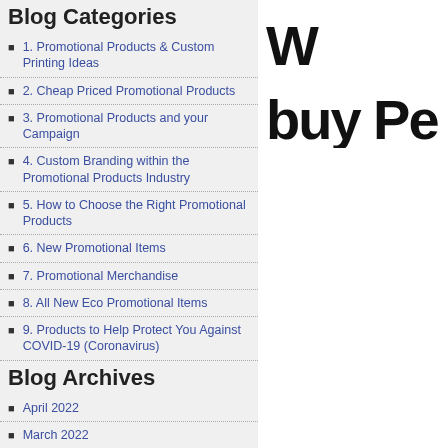Blog Categories
1. Promotional Products & Custom Printing Ideas
2. Cheap Priced Promotional Products
3. Promotional Products and your Campaign
4. Custom Branding within the Promotional Products Industry
5. How to Choose the Right Promotional Products
6. New Promotional Items
7. Promotional Merchandise
8. All New Eco Promotional Items
9. Products to Help Protect You Against COVID-19 (Coronavirus)
Blog Archives
April 2022
March 2022
February 2022
January 2022
December 2021
October 2021
September 2021
August 2021
W buy Pe